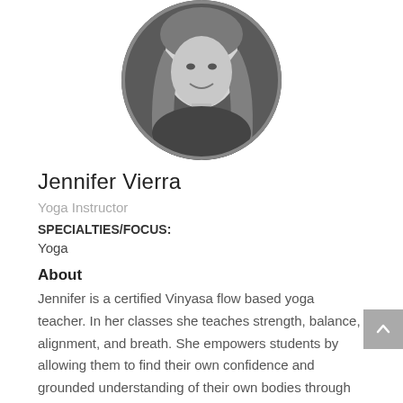[Figure (photo): Circular black-and-white headshot photo of Jennifer Vierra, a woman with long hair, smiling]
Jennifer Vierra
Yoga Instructor
SPECIALTIES/FOCUS:
Yoga
About
Jennifer is a certified Vinyasa flow based yoga teacher. In her classes she teaches strength, balance, alignment, and breath. She empowers students by allowing them to find their own confidence and grounded understanding of their own bodies through self inquiry and awareness. Jennifer offers personal yoga training and helps all types of movement goals.